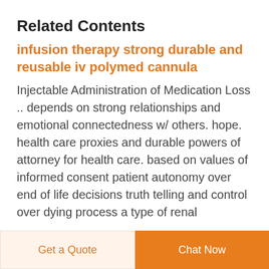Related Contents
infusion therapy strong durable and reusable iv polymed cannula
Injectable Administration of Medication Loss .. depends on strong relationships and emotional connectedness w/ others. hope. health care proxies and durable powers of attorney for health care. based on values of informed consent patient autonomy over end of life decisions truth telling and control over dying process a type of renal